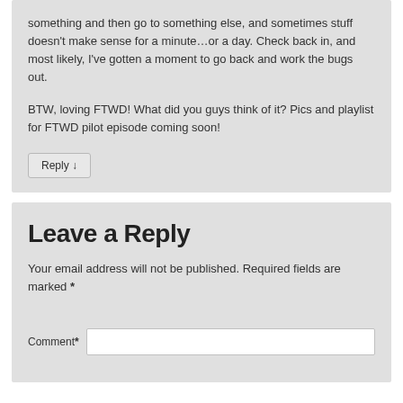something and then go to something else, and sometimes stuff doesn't make sense for a minute…or a day. Check back in, and most likely, I've gotten a moment to go back and work the bugs out.
BTW, loving FTWD! What did you guys think of it? Pics and playlist for FTWD pilot episode coming soon!
Reply ↓
Leave a Reply
Your email address will not be published. Required fields are marked *
Comment *